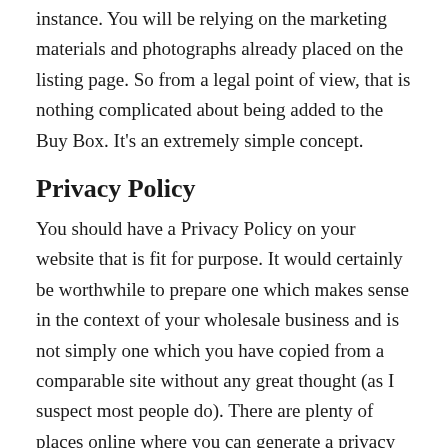instance. You will be relying on the marketing materials and photographs already placed on the listing page. So from a legal point of view, that is nothing complicated about being added to the Buy Box. It's an extremely simple concept.
Privacy Policy
You should have a Privacy Policy on your website that is fit for purpose. It would certainly be worthwhile to prepare one which makes sense in the context of your wholesale business and is not simply one which you have copied from a comparable site without any great thought (as I suspect most people do). There are plenty of places online where you can generate a privacy policy, sometimes for a small fee.